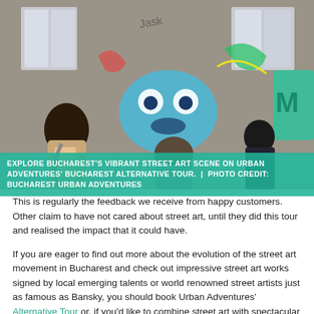[Figure (photo): People viewing colorful graffiti and street art on a weathered building wall in Bucharest. Three people with backpacks face the wall covered in blue and multicolored graffiti characters.]
EXPLORE BUCHAREST'S VIBRANT STREET ART SCENE ON URBAN ADVENTURES' BUCHAREST ALTERNATIVE TOUR.  |  PHOTO CREDIT: BUCHAREST URBAN ADVENTURES
This is regularly the feedback we receive from happy customers. Other claim to have not cared about street art, until they did this tour and realised the impact that it could have.
If you are eager to find out more about the evolution of the street art movement in Bucharest and check out impressive street art works signed by local emerging talents or world renowned street artists just as famous as Bansky, you should book Urban Adventures' Alternative Tour or, if you'd like to combine street art with spectacular urban decay, take our Alternative Urban Explorer Tour. Both tours are especially designed for urban explorers looking to discover unique